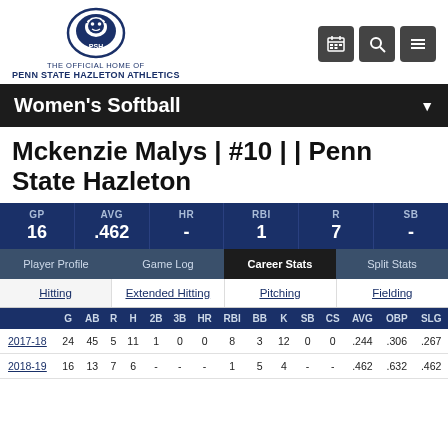[Figure (logo): Penn State Nittany Lion athletic logo — circular lion head in navy blue]
THE OFFICIAL HOME OF
PENN STATE HAZLETON ATHLETICS
Women's Softball
Mckenzie Malys | #10 | | Penn State Hazleton
| GP | AVG | HR | RBI | R | SB |
| --- | --- | --- | --- | --- | --- |
| 16 | .462 | - | 1 | 7 | - |
|  | Player Profile | Game Log | Career Stats | Split Stats |
| --- | --- | --- | --- | --- |
|  | Hitting | Extended Hitting | Pitching | Fielding |
| --- | --- | --- | --- | --- |
|  | G | AB | R | H | 2B | 3B | HR | RBI | BB | K | SB | CS | AVG | OBP | SLG |
| --- | --- | --- | --- | --- | --- | --- | --- | --- | --- | --- | --- | --- | --- | --- | --- |
| 2017-18 | 24 | 45 | 5 | 11 | 1 | 0 | 0 | 8 | 3 | 12 | 0 | 0 | .244 | .306 | .267 |
| 2018-19 | 16 | 13 | 7 | 6 | - | - | - | 1 | 5 | 4 | - | - | .462 | .632 | .462 |